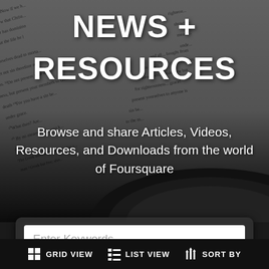[Figure (photo): Open Bible pages as background image, in grayscale, with dark overlay]
NEWS + RESOURCES
Browse and share Articles, Videos, Resources, and Downloads from the world of Foursquare
Enter Keywords
Advanced Options     Clear Search
GRID VIEW   LIST VIEW   SORT BY